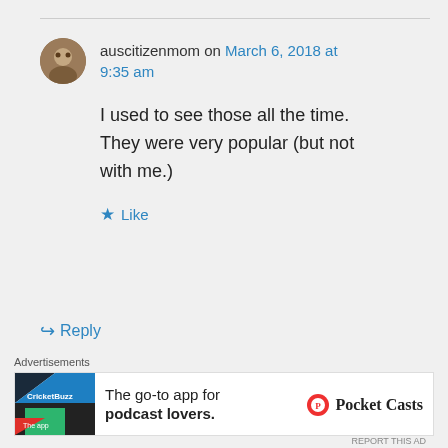auscitizenmom on March 6, 2018 at 9:35 am
I used to see those all the time. They were very popular (but not with me.)
Like
Reply
stella on March 6, 2018 at 9:37 am
Advertisements
The go-to app for podcast lovers. Pocket Casts